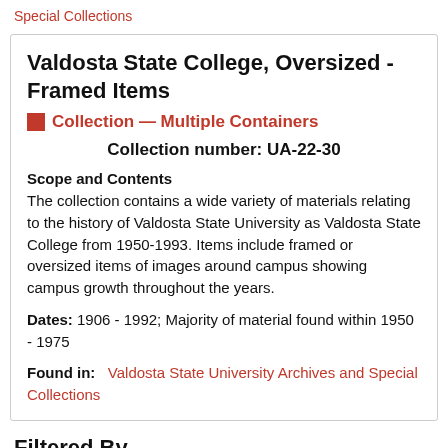Special Collections
Valdosta State College, Oversized - Framed Items
Collection — Multiple Containers
Collection number: UA-22-30
Scope and Contents
The collection contains a wide variety of materials relating to the history of Valdosta State University as Valdosta State College from 1950-1993. Items include framed or oversized items of images around campus showing campus growth throughout the years.
Dates: 1906 - 1992; Majority of material found within 1950 - 1975
Found in: Valdosta State University Archives and Special Collections
Filtered By